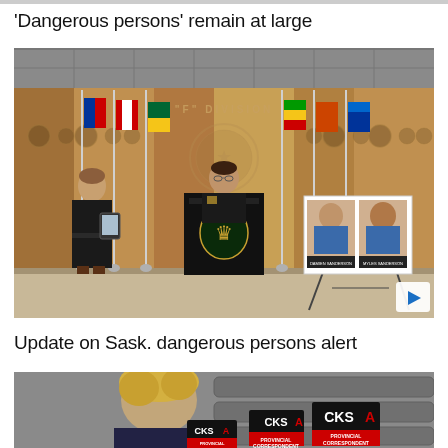'Dangerous persons' remain at large
[Figure (photo): RCMP press conference at 'F' Division headquarters. An officer stands at a podium flanked by Canadian and provincial flags. Two suspect photos are displayed on a board to the right. A second officer stands to the left holding a tablet.]
Update on Sask. dangerous persons alert
[Figure (photo): Television reporter doing a live report. CKSA news logo and 'Provincial Correspondent' lower-third graphics visible in background.]